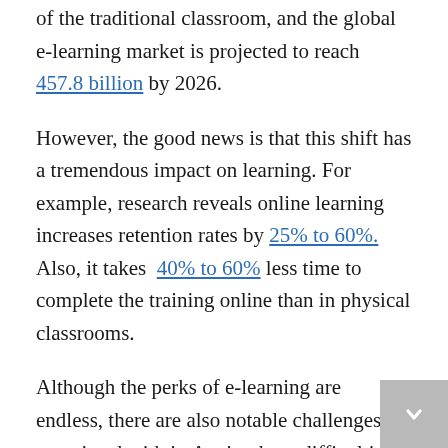of the traditional classroom, and the global e-learning market is projected to reach 457.8 billion by 2026.
However, the good news is that this shift has a tremendous impact on learning. For example, research reveals online learning increases retention rates by 25% to 60%. Also, it takes 40% to 60% less time to complete the training online than in physical classrooms.
Although the perks of e-learning are endless, there are also notable challenges associated with it. Again, these difficulties have influenced digital learning positively by challenging EdTechs to grow amid these demands.
If you are unsure about the industry's challenges and wonder how technology companies are fixing them to improve, you are in the right place.